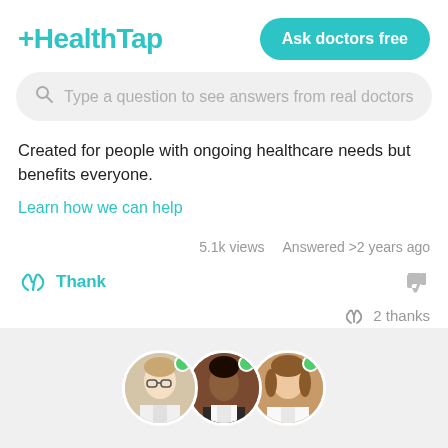HealthTap
Ask doctors free
Type a question to see answers from real doctors
Created for people with ongoing healthcare needs but benefits everyone.
Learn how we can help
5.1k views   Answered >2 years ago
Thank
2 thanks
[Figure (photo): Three doctor profile photos with green online indicator dots]